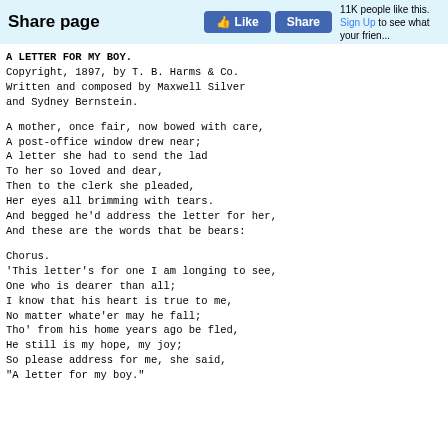Share page | Like | Share | 11K people like this. Sign Up to see what your frien...
A LETTER FOR MY BOY.
Copyright, 1897, by T. B. Harms & Co.
Written and composed by Maxwell Silver
and Sydney Bernstein.
A mother, once fair, now bowed with care,
A post-office window drew near;
A letter she had to send the lad
To her so loved and dear,
Then to the clerk she pleaded,
Her eyes all brimming with tears.
And begged he'd address the letter for her,
And these are the words that be bears:
Chorus.
'This letter's for one I am longing to see,
One who is dearer than all;
I know that his heart is true to me,
No matter whate'er may he fall;
Tho' from his home years ago be fled,
He still is my hope, my joy;
So please address for me, she said,
"A letter for my boy."